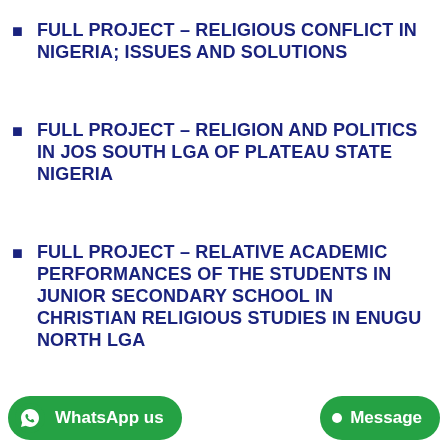FULL PROJECT – RELIGIOUS CONFLICT IN NIGERIA; ISSUES AND SOLUTIONS
FULL PROJECT – RELIGION AND POLITICS IN JOS SOUTH LGA OF PLATEAU STATE NIGERIA
FULL PROJECT – RELATIVE ACADEMIC PERFORMANCES OF THE STUDENTS IN JUNIOR SECONDARY SCHOOL IN CHRISTIAN RELIGIOUS STUDIES IN ENUGU NORTH LGA